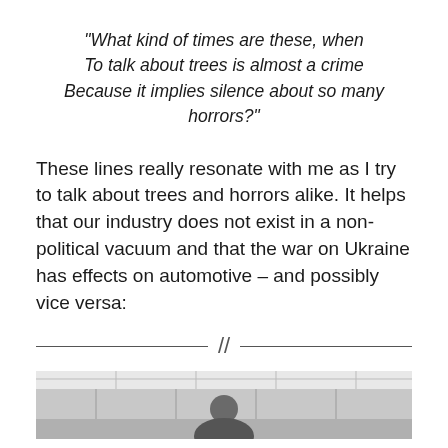“What kind of times are these, when To talk about trees is almost a crime Because it implies silence about so many horrors?”
These lines really resonate with me as I try to talk about trees and horrors alike. It helps that our industry does not exist in a non-political vacuum and that the war on Ukraine has effects on automotive – and possibly vice versa:
[Figure (photo): Bottom strip of a photo showing a person (partially visible) in what appears to be an indoor setting with windows or glass panels in the background.]